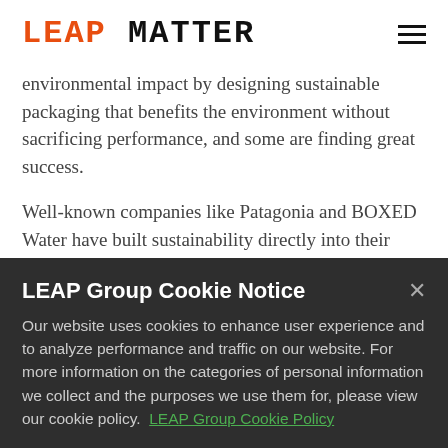LEAP MATTER
environmental impact by designing sustainable packaging that benefits the environment without sacrificing performance, and some are finding great success.
Well-known companies like Patagonia and BOXED Water have built sustainability directly into their value proposition, using polybags and cardboard boxes that are 100% recyclable. The beauty retailer, Lush, reduces
LEAP Group Cookie Notice
Our website uses cookies to enhance user experience and to analyze performance and traffic on our website. For more information on the categories of personal information we collect and the purposes we use them for, please view our cookie policy.  LEAP Group Cookie Policy